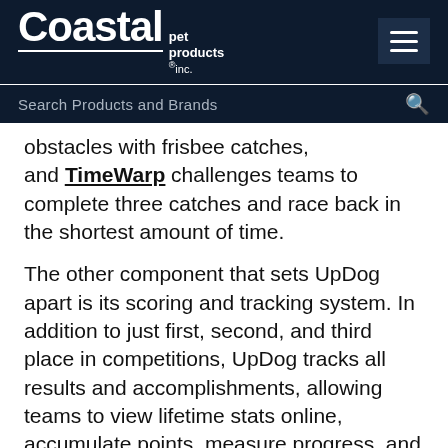Coastal pet products inc. — Search Products and Brands
obstacles with frisbee catches, and TimeWarp challenges teams to complete three catches and race back in the shortest amount of time.
The other component that sets UpDog apart is its scoring and tracking system. In addition to just first, second, and third place in competitions, UpDog tracks all results and accomplishments, allowing teams to view lifetime stats online, accumulate points, measure progress, and unlock achievements. "For the teams that may not make the podium, they can play for something else," Rigler says.